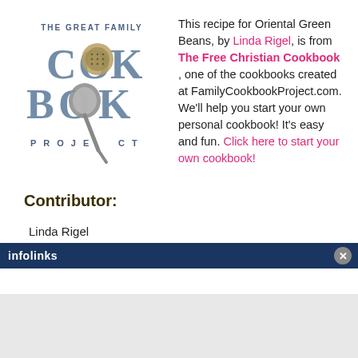[Figure (logo): The Great Family Cook Book Project logo with decorative text and a measuring spoon]
This recipe for Oriental Green Beans, by Linda Rigel, is from The Free Christian Cookbook , one of the cookbooks created at FamilyCookbookProject.com. We'll help you start your own personal cookbook! It's easy and fun. Click here to start your own cookbook!
Contributor:
Linda Rigel
[Figure (other): Infolinks advertisement bar at bottom of page]